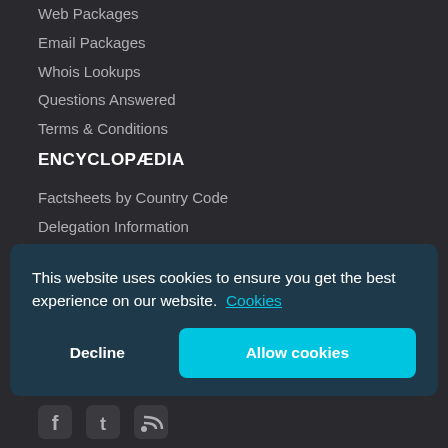Web Packages
Email Packages
Whois Lookups
Questions Answered
Terms & Conditions
ENCYCLOPÆDIA
Factsheets by Country Code
Delegation Information
General Information
Registration Information
DNS Security Extensions
Resources
This website uses cookies to ensure you get the best experience on our website. Cookies
Decline | Allow cookies
[Figure (other): Social media icons: Facebook, Twitter, RSS feed]